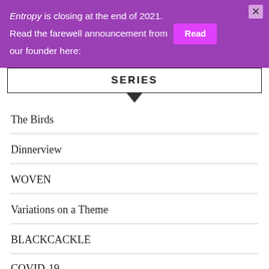Entropy is closing at the end of 2021. Read the farewell announcement from our founder here:
SERIES
The Birds
Dinnerview
WOVEN
Variations on a Theme
BLACKCACKLE
COVID-19